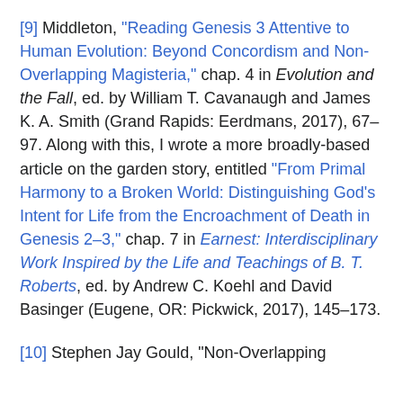[9] Middleton, “Reading Genesis 3 Attentive to Human Evolution: Beyond Concordism and Non-Overlapping Magisteria,” chap. 4 in Evolution and the Fall, ed. by William T. Cavanaugh and James K. A. Smith (Grand Rapids: Eerdmans, 2017), 67–97. Along with this, I wrote a more broadly-based article on the garden story, entitled “From Primal Harmony to a Broken World: Distinguishing God’s Intent for Life from the Encroachment of Death in Genesis 2–3,” chap. 7 in Earnest: Interdisciplinary Work Inspired by the Life and Teachings of B. T. Roberts, ed. by Andrew C. Koehl and David Basinger (Eugene, OR: Pickwick, 2017), 145–173.
[10] Stephen Jay Gould, “Non-Overlapping